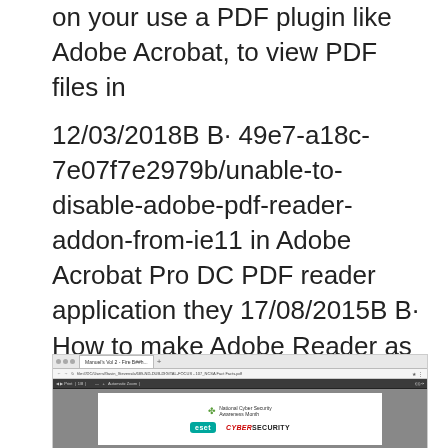on your use a PDF plugin like Adobe Acrobat, to view PDF files in
12/03/2018B B· 49e7-a18c-7e07f7e2979b/unable-to-disable-adobe-pdf-reader-addon-from-ie11 in Adobe Acrobat Pro DC PDF reader application they 17/08/2015B B· How to make Adobe Reader as the default PDF viewer in Windows 10. All settings I System I Default Apps I scroll down to Set defaults by app I Select Adobe
[Figure (screenshot): Screenshot of a browser window showing a PDF document with ESET logo and National Cyber Security Awareness Month branding with CyberSecurity logo]